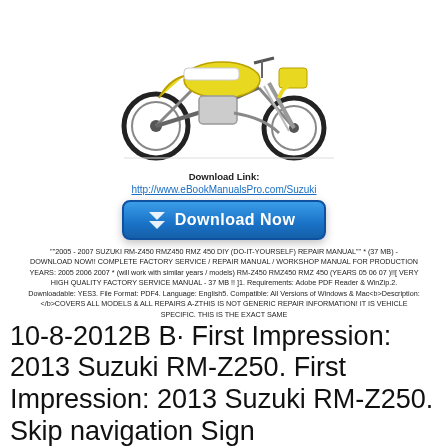[Figure (photo): Yellow and white Suzuki RM-Z dirt bike / motocross motorcycle, side view facing right]
Download Link:
http://www.eBookManualsPro.com/Suzuki
[Figure (other): Blue Download Now button with double chevron icon]
""2005 - 2007 SUZUKI RM-Z450 RMZ450 RMZ 450 DIY (DO-IT-YOURSELF) REPAIR MANUAL"" * (37 MB) - DOWNLOAD NOW!! COMPLETE FACTORY SERVICE / REPAIR MANUAL / WORKSHOP MANUAL FOR PRODUCTION YEARS: 2005 2006 2007 * (will work with similar years / models) RM-Z450 RMZ450 RMZ 450 (YEARS 05 06 07 )!![ VERY HIGH QUALITY FACTORY SERVICE MANUAL - 37 MB !! ]1. Requirements: Adobe PDF Reader & WinZip.2. Downloadable: YES3. File Format: PDF4. Language: English5. Compatible: All Versions of Windows & Mac<b>Description:</b>COVERS ALL MODELS & ALL REPAIRS A-ZTHIS IS NOT GENERIC REPAIR INFORMATION! IT IS VEHICLE SPECIFIC. THIS IS THE EXACT SAME
10-8-2012B B· First Impression: 2013 Suzuki RM-Z250. First Impression: 2013 Suzuki RM-Z250. Skip navigation Sign